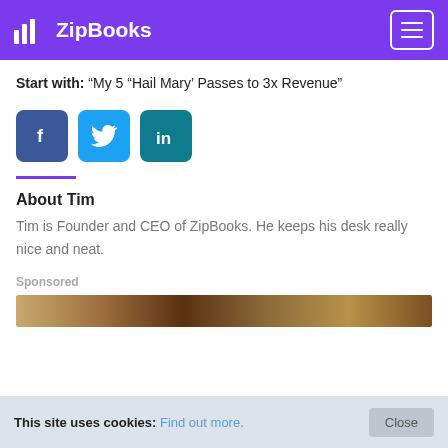ZipBooks
Start with: “My 5 “Hail Mary’ Passes to 3x Revenue”
[Figure (other): Social share buttons: Facebook, Twitter, LinkedIn]
About Tim
Tim is Founder and CEO of ZipBooks. He keeps his desk really nice and neat.
Sponsored
[Figure (photo): Sponsored image showing a close-up of a brown textured background]
This site uses cookies: Find out more.